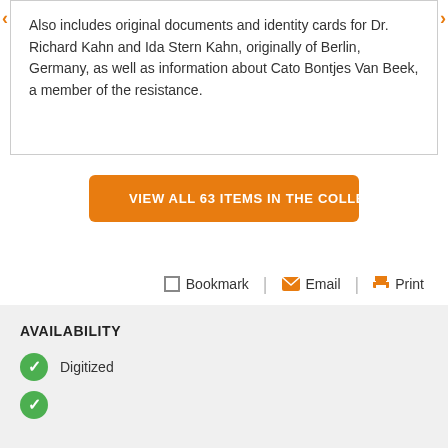Also includes original documents and identity cards for Dr. Richard Kahn and Ida Stern Kahn, originally of Berlin, Germany, as well as information about Cato Bontjes Van Beek, a member of the resistance.
VIEW ALL 63 ITEMS IN THE COLLECTION
Bookmark  Email  Print
AVAILABILITY
Digitized